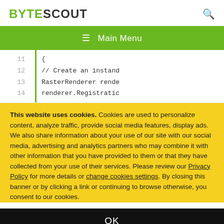BYTESCOUT
≡  Main Menu
[Figure (screenshot): Code snippet with line numbers 11-14 showing C# RasterRenderer code. Line 11: {, Line 12: // Create an instance, Line 13: RasterRenderer render, Line 14: renderer.Registratic]
This website uses cookies. Cookies are used to personalize content, analyze traffic, provide social media features, display ads. We also share information about your use of our site with our social media, advertising and analytics partners who may combine it with other information that you have provided to them or that they have collected from your use of their services. Please review our Privacy Policy for more details or change cookies settings. By closing this banner or by clicking a link or continuing to browse otherwise, you consent to our cookies.
OK